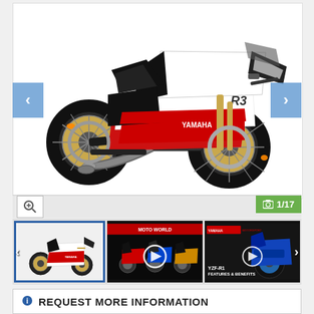[Figure (photo): Yamaha R3 motorcycle in white/red/black World GP 60th Anniversary livery, side profile view with gold wheels. Main product image in a carousel viewer showing 1/17 images. Below the main image is a thumbnail strip with the same motorcycle photo (active/selected), a video thumbnail showing multiple racing motorcycles, and a YZF-R1 Features & Benefits video thumbnail. Navigation arrows on left and right sides of carousel.]
1/17
REQUEST MORE INFORMATION